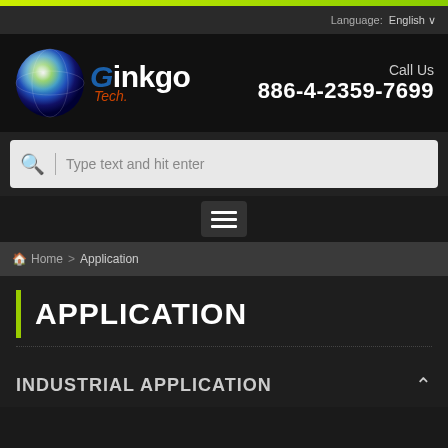Language: English
[Figure (logo): Ginkgo Tech logo with colorful sphere and company name]
Call Us 886-4-2359-7699
Type text and hit enter
Home > Application
APPLICATION
INDUSTRIAL APPLICATION